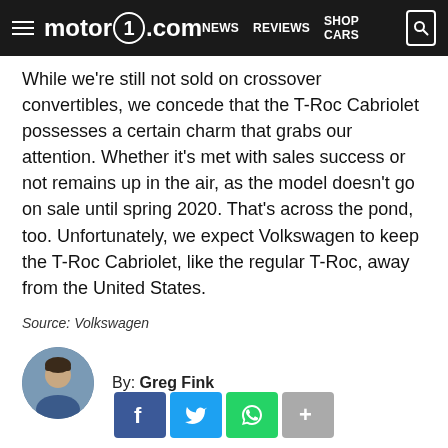motor1.com — NEWS  REVIEWS  SHOP CARS
While we're still not sold on crossover convertibles, we concede that the T-Roc Cabriolet possesses a certain charm that grabs our attention. Whether it's met with sales success or not remains up in the air, as the model doesn't go on sale until spring 2020. That's across the pond, too. Unfortunately, we expect Volkswagen to keep the T-Roc Cabriolet, like the regular T-Roc, away from the United States.
Source: Volkswagen
By: Greg Fink
[Figure (illustration): Author avatar photo of Greg Fink — circular headshot]